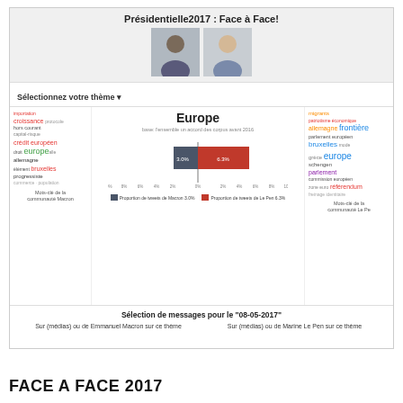Présidentielle2017 : Face à Face!
[Figure (screenshot): Screenshot of a web application showing a face-to-face comparison of French presidential candidates Macron and Le Pen on the topic of Europe, including a horizontal bar chart and word clouds.]
[Figure (bar-chart): Europe]
Sélection de messages pour le "08-05-2017"
Sur (médias) ou de Emmanuel Macron sur ce thème
Sur (médias) ou de Marine Le Pen sur ce thème
FACE A FACE 2017